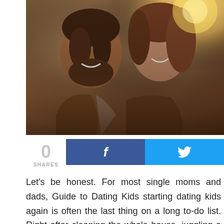[Figure (photo): A smiling couple facing each other closely, man with beard and woman with curly hair, warm golden backlit outdoor setting]
0
SHARES
[Figure (infographic): Facebook share button (dark blue with f icon) and Twitter share button (light blue with bird icon)]
Let's be honest. For most single moms and dads, Guide to Dating Kids starting dating kids again is often the last thing on a long to-do list. Right after cleaning the whole house, juggling a career, and